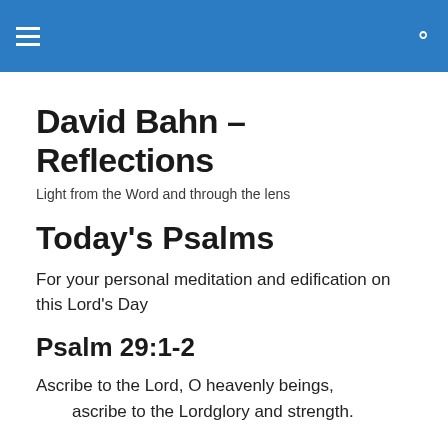David Bahn – Reflections (navigation bar with hamburger menu and search icon)
David Bahn – Reflections
Light from the Word and through the lens
Today's Psalms
For your personal meditation and edification on this Lord's Day
Psalm 29:1-2
Ascribe to the Lord, O heavenly beings,
    ascribe to the Lordglory and strength.